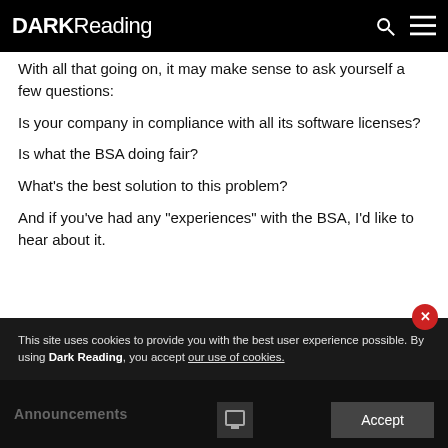DARK Reading
With all that going on, it may make sense to ask yourself a few questions:
Is your company in compliance with all its software licenses?
Is what the BSA doing fair?
What's the best solution to this problem?
And if you've had any "experiences" with the BSA, I'd like to hear about it.
This site uses cookies to provide you with the best user experience possible. By using Dark Reading, you accept our use of cookies.
Announcements